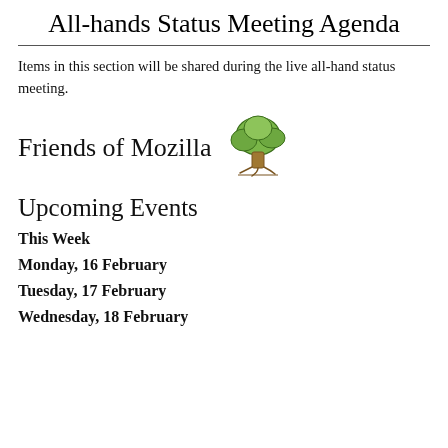All-hands Status Meeting Agenda
Items in this section will be shared during the live all-hand status meeting.
Friends of Mozilla
[Figure (illustration): A cartoon-style illustration of a green deciduous tree with a brown trunk and roots.]
Upcoming Events
This Week
Monday, 16 February
Tuesday, 17 February
Wednesday, 18 February